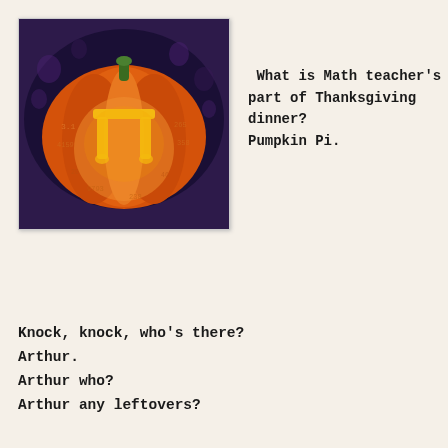[Figure (photo): A carved pumpkin (jack-o-lantern) with the pi symbol (π) carved into it, glowing orange from within. Numbers of pi are visible around the pumpkin's surface. Background is dark purple/blue.]
What is Math teacher's favorite part of Thanksgiving dinner? Pumpkin Pi.
Knock, knock, who's there?
Arthur.
Arthur who?
Arthur any leftovers?